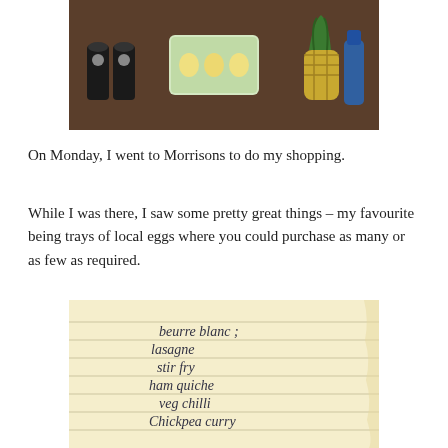[Figure (photo): Photo of grocery items on a dark surface including bottles, a tray of eggs in packaging, and a pineapple]
On Monday, I went to Morrisons to do my shopping.
While I was there, I saw some pretty great things – my favourite being trays of local eggs where you could purchase as many or as few as required.
[Figure (photo): Photo of a handwritten shopping list on lined paper reading: beurre blanc, lasagne, stir fry, ham quiche, veg chilli, Chickpea curry]